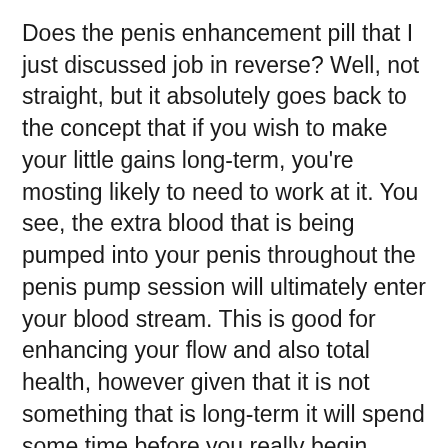Does the penis enhancement pill that I just discussed job in reverse? Well, not straight, but it absolutely goes back to the concept that if you wish to make your little gains long-term, you're mosting likely to need to work at it. You see, the extra blood that is being pumped into your penis throughout the penis pump session will ultimately enter your blood stream. This is good for enhancing your flow and also total health, however given that it is not something that is long-term it will spend some time before you really begin seeing any type of results. That being stated however, most men who make use of penis pumps are extremely pleased with the results they achieve.
Exactly how does a prick enlargement